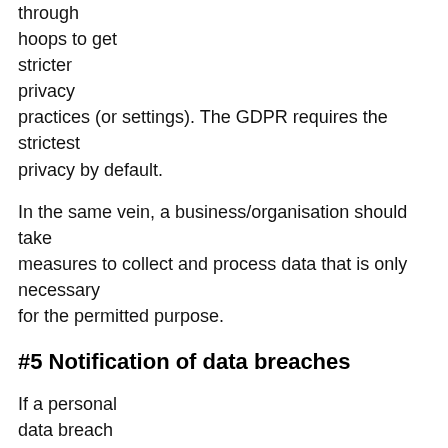through hoops to get stricter privacy practices (or settings). The GDPR requires the strictest privacy by default.
In the same vein, a business/organisation should take measures to collect and process data that is only necessary for the permitted purpose.
#5 Notification of data breaches
If a personal data breach does occur, the